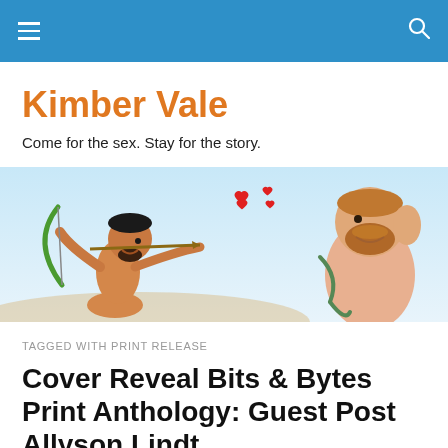Kimber Vale
Come for the sex. Stay for the story.
[Figure (illustration): Cartoon banner illustration showing two figures: a dark-haired archer (Cupid-like) shooting a green bow with red hearts flying toward a bearded man on the right, against a light blue background.]
TAGGED WITH PRINT RELEASE
Cover Reveal Bits & Bytes Print Anthology: Guest Post Allyson Lindt